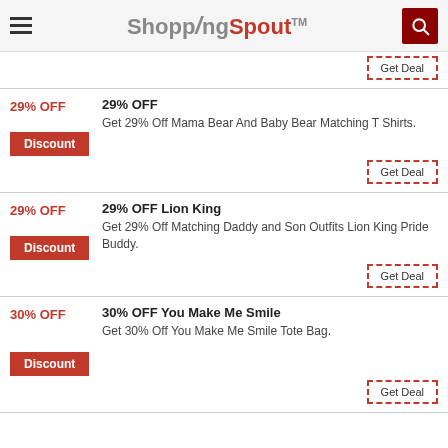ShoppingSpout TM
Get Deal
29% OFF
Get 29% Off Mama Bear And Baby Bear Matching T Shirts.
Discount
Get Deal
29% OFF Lion King
Get 29% Off Matching Daddy and Son Outfits Lion King Pride Buddy.
Discount
Get Deal
30% OFF You Make Me Smile
Get 30% Off You Make Me Smile Tote Bag.
Discount
Get Deal